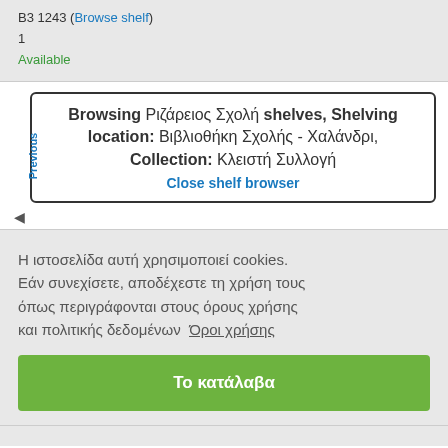B3 1243 (Browse shelf)
1
Available
Browsing Ριζάρειος Σχολή shelves, Shelving location: Βιβλιοθήκη Σχολής - Χαλάνδρι, Collection: Κλειστή Συλλογή
Close shelf browser
Η ιστοσελίδα αυτή χρησιμοποιεί cookies. Εάν συνεχίσετε, αποδέχεστε τη χρήση τους όπως περιγράφονται στους όρους χρήσης και πολιτικής δεδομένων Όροι χρήσης
Το κατάλαβα